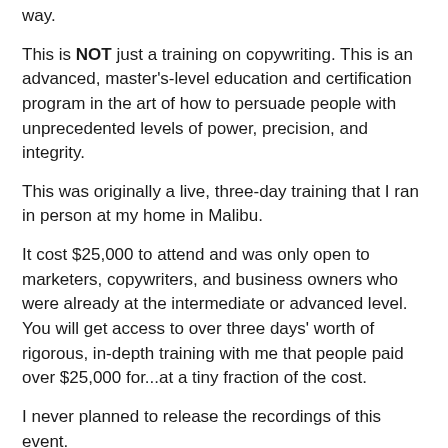way.
This is NOT just a training on copywriting. This is an advanced, master's-level education and certification program in the art of how to persuade people with unprecedented levels of power, precision, and integrity.
This was originally a live, three-day training that I ran in person at my home in Malibu.
It cost $25,000 to attend and was only open to marketers, copywriters, and business owners who were already at the intermediate or advanced level. You will get access to over three days' worth of rigorous, in-depth training with me that people paid over $25,000 for...at a tiny fraction of the cost.
I never planned to release the recordings of this event.
However, the people who couldn't make it live during the dates that weekend have been asking me to do another training like this.